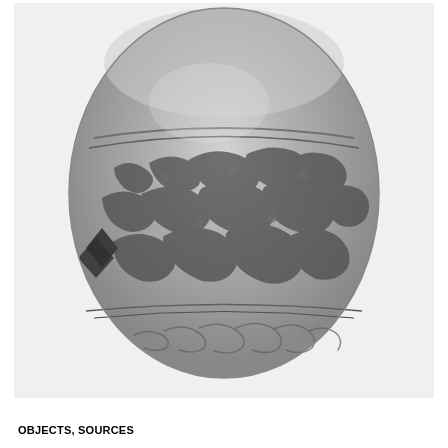[Figure (photo): Black and white photograph of an oval/egg-shaped object, likely an engraved gemstone or decorative artifact. The object features intricate Arabic or Persian calligraphic inscriptions carved in relief around its midsection, with decorative floral or foliate patterns. The lower portion shows additional cursive script inscription. A black diamond or rhombus shape is visible on the upper left side of the object.]
OBJECTS, SOURCES